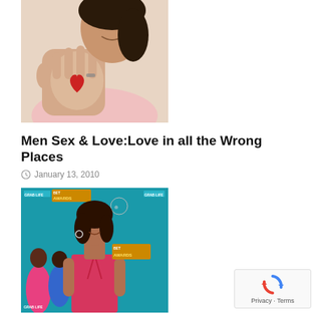[Figure (photo): Woman holding up her palm with a red heart drawn on it, smiling, wearing pink, ring on finger]
Men Sex & Love:Love in all the Wrong Places
January 13, 2010
[Figure (photo): Woman in pink strapless dress at BET Awards event with teal backdrop showing GRAB LIFE and BET AWARDS logos]